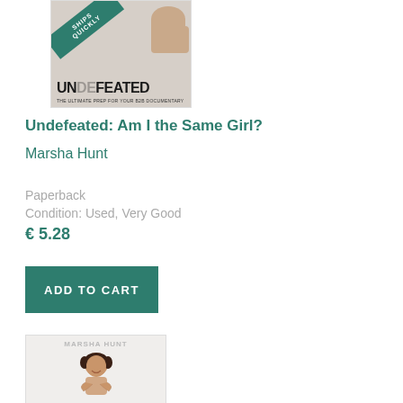[Figure (photo): Book cover for 'Undefeated: Am I the Same Girl?' with a green diagonal ribbon banner reading 'SHIPS QUICKLY']
Undefeated: Am I the Same Girl?
Marsha Hunt
Paperback
Condition: Used, Very Good
€ 5.28
ADD TO CART
[Figure (photo): Book cover showing Marsha Hunt with author name at top]